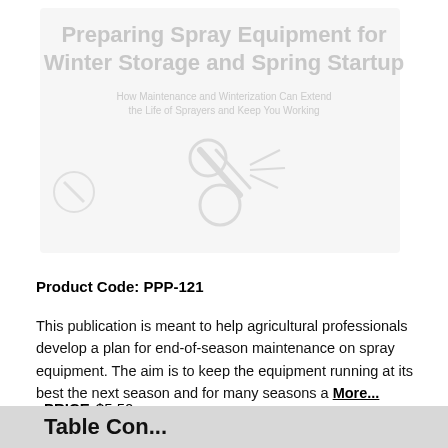[Figure (illustration): Faded/watermark-style book cover image showing title 'Preparing Spray Equipment for Winter Storage and Spring Startup' with subtitle 'How Maintenance and Winterization Can Extend the Life of Sprayers and Keep You Working' and a spray equipment illustration]
Product Code: PPP-121
This publication is meant to help agricultural professionals develop a plan for end-of-season maintenance on spray equipment. The aim is to keep the equipment running at its best the next season and for many seasons a More...
PRICE $5.50
Table Con...